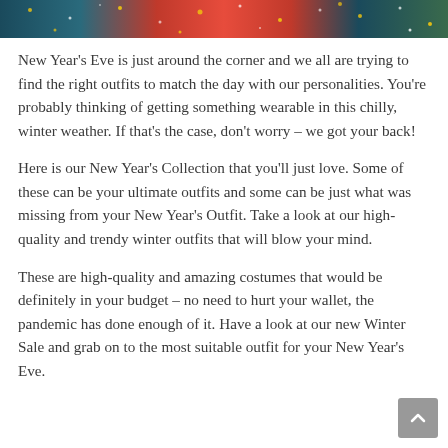[Figure (photo): Decorative header image showing festive/New Year's Eve scene with colorful lights, confetti, and people]
New Year's Eve is just around the corner and we all are trying to find the right outfits to match the day with our personalities. You're probably thinking of getting something wearable in this chilly, winter weather. If that's the case, don't worry – we got your back!
Here is our New Year's Collection that you'll just love. Some of these can be your ultimate outfits and some can be just what was missing from your New Year's Outfit. Take a look at our high-quality and trendy winter outfits that will blow your mind.
These are high-quality and amazing costumes that would be definitely in your budget – no need to hurt your wallet, the pandemic has done enough of it. Have a look at our new Winter Sale and grab on to the most suitable outfit for your New Year's Eve.